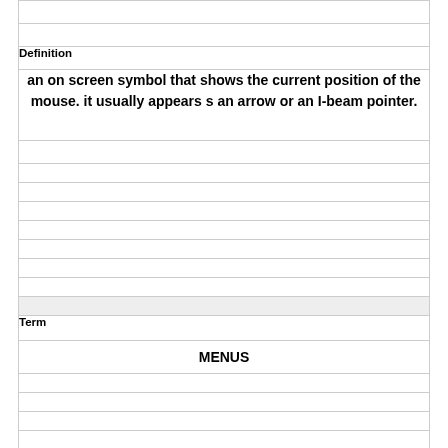| Definition | Term |
| --- | --- |
| an on screen symbol that shows the current position of the mouse. it usually appears s an arrow or an I-beam pointer. |  |
|  | MENUS |